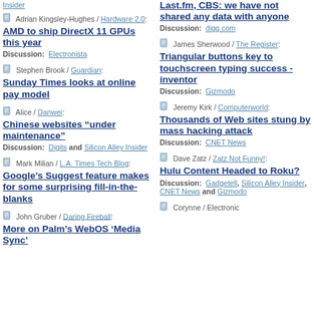Insider
Adrian Kingsley-Hughes / Hardware 2.0: AMD to ship DirectX 11 GPUs this year. Discussion: Electronista
Stephen Brook / Guardian: Sunday Times looks at online pay model
Alice / Danwei: Chinese websites "under maintenance". Discussion: Digits and Silicon Alley Insider
Mark Milian / L.A. Times Tech Blog: Google's Suggest feature makes for some surprising fill-in-the-blanks
John Gruber / Daring Fireball: More on Palm's WebOS 'Media Sync'
Last.fm, CBS: we have not shared any data with anyone. Discussion: digg.com
James Sherwood / The Register: Triangular buttons key to touchscreen typing success - inventor. Discussion: Gizmodo
Jeremy Kirk / Computerworld: Thousands of Web sites stung by mass hacking attack. Discussion: CNET News
Dave Zatz / Zatz Not Funny!: Hulu Content Headed to Roku? Discussion: Gadgetell, Silicon Alley Insider, CNET News and Gizmodo
Corynne / Electronic